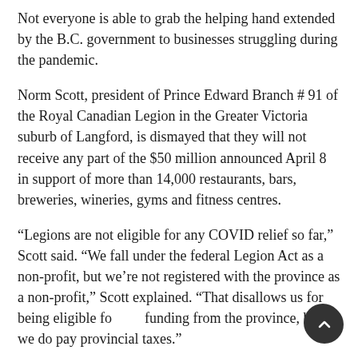Not everyone is able to grab the helping hand extended by the B.C. government to businesses struggling during the pandemic.
Norm Scott, president of Prince Edward Branch # 91 of the Royal Canadian Legion in the Greater Victoria suburb of Langford, is dismayed that they will not receive any part of the $50 million announced April 8 in support of more than 14,000 restaurants, bars, breweries, wineries, gyms and fitness centres.
“Legions are not eligible for any COVID relief so far,” Scott said. “We fall under the federal Legion Act as a non-profit, but we’re not registered with the province as a non-profit,” Scott explained. “That disallows us for being eligible for any funding from the province, but we do pay provincial taxes.”